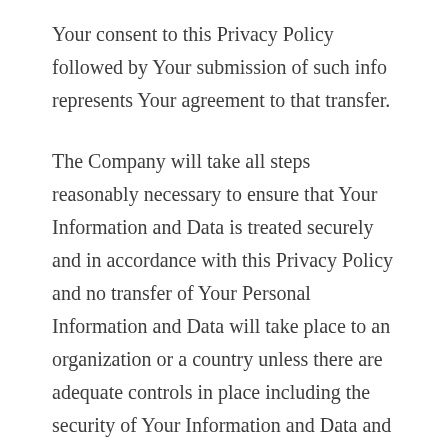Your consent to this Privacy Policy followed by Your submission of such info represents Your agreement to that transfer.
The Company will take all steps reasonably necessary to ensure that Your Information and Data is treated securely and in accordance with this Privacy Policy and no transfer of Your Personal Information and Data will take place to an organization or a country unless there are adequate controls in place including the security of Your Information and Data and other personal info.
Security of Your Personal Information and